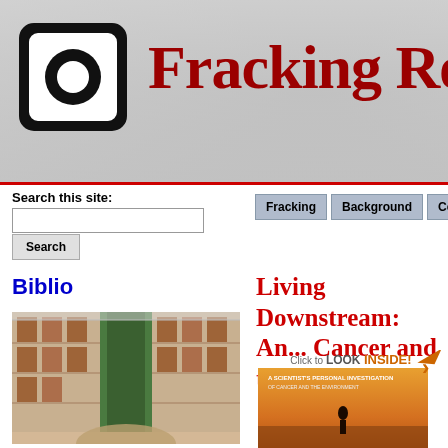Fracking Resour
Search this site:
Fracking | Background | Companies
Biblio
[Figure (photo): Interior of a large multi-story library with tall bookshelves and green central structure]
Living Downstream: An... Cancer and the Environ...
[Figure (photo): Book cover for Living Downstream with 'Click to LOOK INSIDE!' badge, showing a person standing at sunset near water]